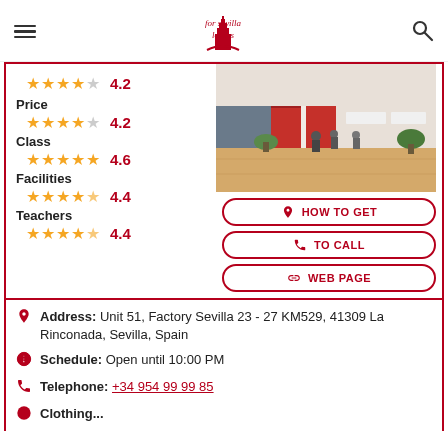For Sevilla Lovers
4.2 (stars rating)
Price 4.2
Class 4.6
Facilities 4.4
Teachers 4.4
[Figure (photo): Interior of Factory Sevilla shopping center, showing a wide aisle with wooden flooring, promotional banners, and people walking.]
HOW TO GET
TO CALL
WEB PAGE
Address: Unit 51, Factory Sevilla 23 - 27 KM529, 41309 La Rinconada, Sevilla, Spain
Schedule: Open until 10:00 PM
Telephone: +34 954 99 99 85